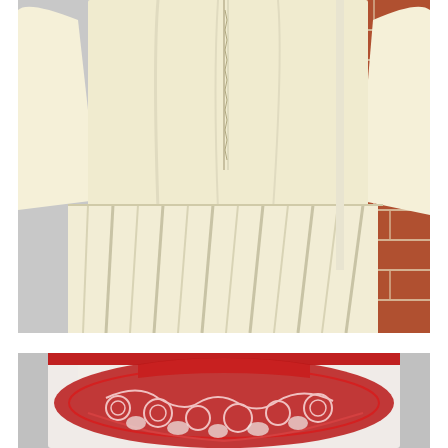[Figure (photo): Back view of a cream/ivory colored dress or top with a vertical zipper down the center back, long sleeves, and a pleated skirt section at the bottom. A red brick wall is partially visible in the background on the right.]
[Figure (photo): Close-up of a cream/ivory garment neckline area featuring an ornate red/crimson crochet or lace collar/yoke detail with decorative scrollwork pattern on a dress form or mannequin.]